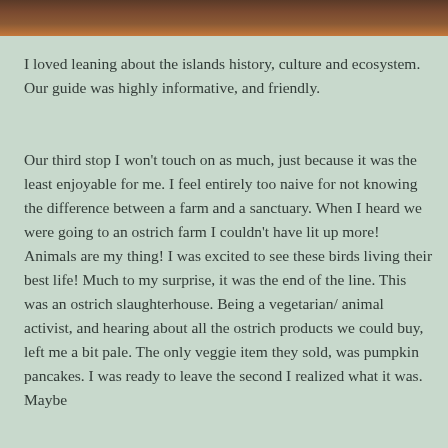[Figure (photo): Photograph of a rocky landscape or ruins, showing brown/orange tones at the top of the page]
I loved leaning about the islands history, culture and ecosystem. Our guide was highly informative, and friendly.
Our third stop I won't touch on as much, just because it was the least enjoyable for me. I feel entirely too naive for not knowing the difference between a farm and a sanctuary. When I heard we were going to an ostrich farm I couldn't have lit up more! Animals are my thing! I was excited to see these birds living their best life! Much to my surprise, it was the end of the line. This was an ostrich slaughterhouse. Being a vegetarian/ animal activist, and hearing about all the ostrich products we could buy, left me a bit pale. The only veggie item they sold, was pumpkin pancakes. I was ready to leave the second I realized what it was. Maybe